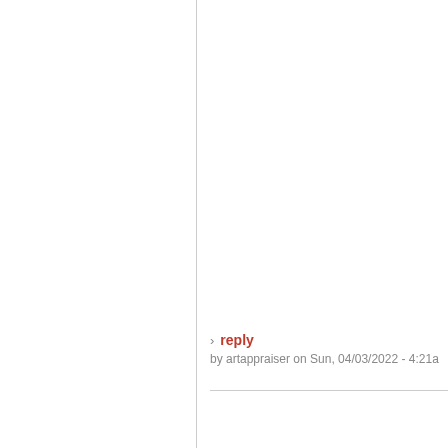reply
by artappraiser on Sun, 04/03/2022 - 4:21a